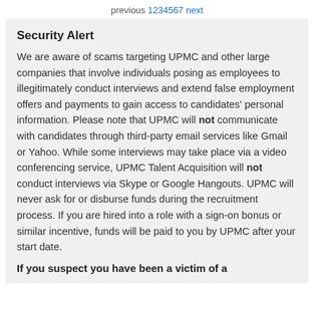previous 1 2 3 4 5 6 7 next
Security Alert
We are aware of scams targeting UPMC and other large companies that involve individuals posing as employees to illegitimately conduct interviews and extend false employment offers and payments to gain access to candidates' personal information. Please note that UPMC will not communicate with candidates through third-party email services like Gmail or Yahoo. While some interviews may take place via a video conferencing service, UPMC Talent Acquisition will not conduct interviews via Skype or Google Hangouts. UPMC will never ask for or disburse funds during the recruitment process. If you are hired into a role with a sign-on bonus or similar incentive, funds will be paid to you by UPMC after your start date.
If you suspect you have been a victim of a